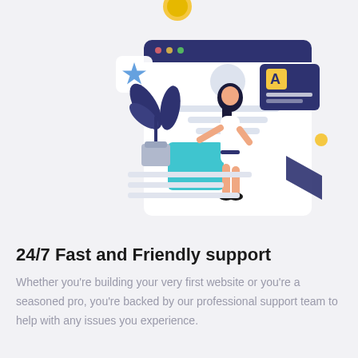[Figure (illustration): Isometric illustration of a woman in white dress interacting with a large web/UI screen. The screen shows interface elements including a profile circle, text lines, a teal/blue square, and a yellow 'A' typography label. A decorative dark blue plant in a light blue pot sits to the left, and a small card with a blue star floats in the upper left. A yellow circle appears at the top center and another yellow dot near the right side of the screen.]
24/7 Fast and Friendly support
Whether you're building your very first website or you're a seasoned pro, you're backed by our professional support team to help with any issues you experience.